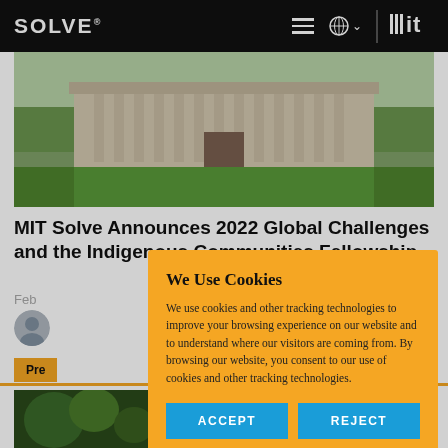SOLVE® [hamburger menu] [globe icon] MIT
[Figure (photo): MIT building with columns and green lawn, trees on sides]
MIT Solve Announces 2022 Global Challenges and the Indigenous Communities Fellowship
Feb
[Figure (photo): Circular avatar of a person]
Pre
[Figure (photo): Green foliage/forest background, bottom strip]
We Use Cookies
We use cookies and other tracking technologies to improve your browsing experience on our website and to understand where our visitors are coming from. By browsing our website, you consent to our use of cookies and other tracking technologies.
ACCEPT    REJECT